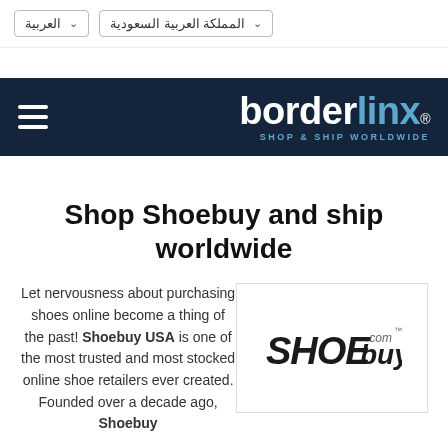العربية | المملكة العربية السعودية
[Figure (logo): Borderlinx navigation bar with hamburger menu icon on left and Borderlinx logo (SHOP & SHIP WORLDWIDE) on right, dark navy background]
Shop Shoebuy and ship worldwide
Let nervousness about purchasing shoes online become a thing of the past! Shoebuy USA is one of the most trusted and most stocked online shoe retailers ever created. Founded over a decade ago, Shoebuy
[Figure (logo): SHOEbuy.com logo in italic bold font]